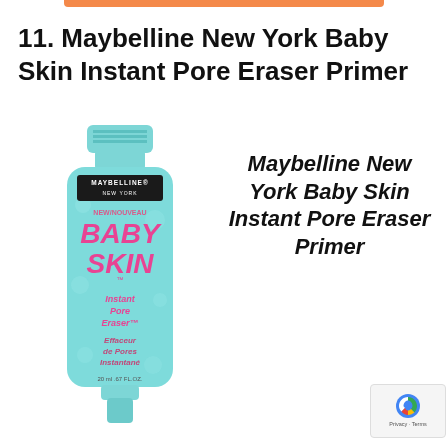11. Maybelline New York Baby Skin Instant Pore Eraser Primer
[Figure (photo): Product photo of Maybelline New York Baby Skin Instant Pore Eraser Primer tube — a light blue/teal squeeze tube with pink branding text reading BABY SKIN and Instant Pore Eraser, alongside bold black text saying Maybelline New York Baby Skin Instant Pore Eraser Primer]